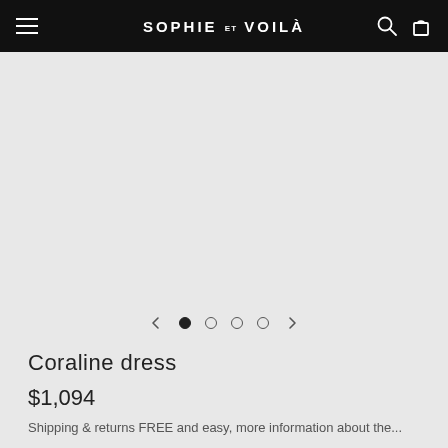SOPHIE ET VOILÀ
[Figure (photo): Product image area — light grey background, no dress visible in this crop]
Coraline dress
$1,094
Shipping & returns FREE and easy, more information about the...